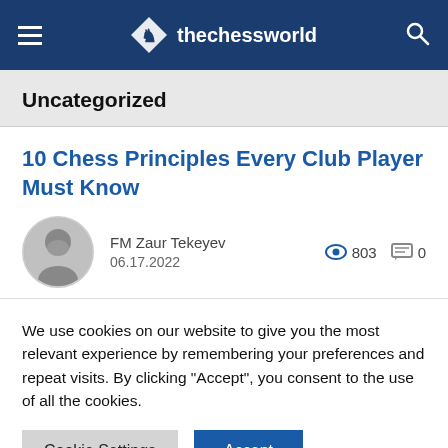thechessworld
Uncategorized
10 Chess Principles Every Club Player Must Know
FM Zaur Tekeyev
06.17.2022
803 views  0 comments
We use cookies on our website to give you the most relevant experience by remembering your preferences and repeat visits. By clicking “Accept”, you consent to the use of all the cookies.